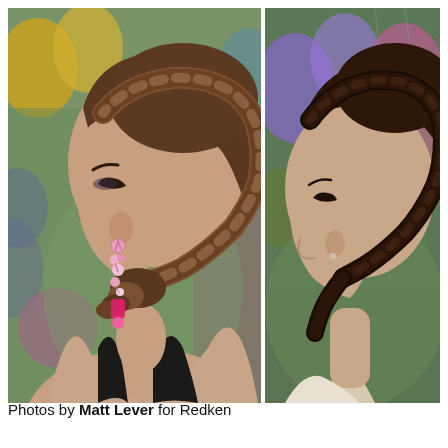[Figure (photo): Two side-by-side photos of women with braided updo hairstyles. Left photo shows a woman in profile/three-quarter view with a large Dutch braid crown updo, wearing pink dangling earrings and a black dress, with colorful flowers in the background. Right photo shows a closer side profile of a woman with a similar braided updo hairstyle, wearing a light-colored top, with flowers in the background.]
Photos by Matt Lever for Redken